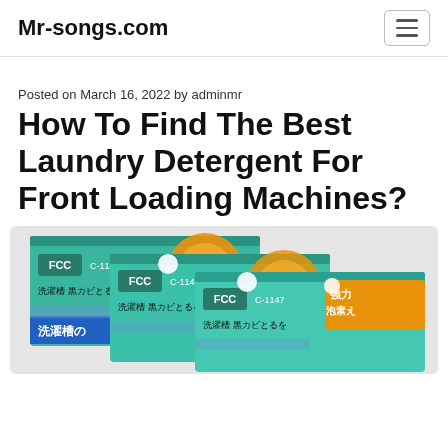Mr-songs.com
Posted on March 16, 2022 by adminmr
How To Find The Best Laundry Detergent For Front Loading Machines?
[Figure (photo): Three FCC C-1147 laundry detergent product boxes with Japanese text, teal/green background, overlapping each other, showing brand logo and product name in Japanese kanji characters]